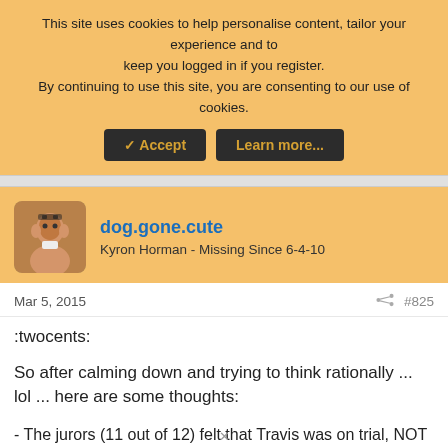This site uses cookies to help personalise content, tailor your experience and to keep you logged in if you register. By continuing to use this site, you are consenting to our use of cookies.
✓ Accept  Learn more...
dog.gone.cute
Kyron Horman - Missing Since 6-4-10
Mar 5, 2015
#825
:twocents:
So after calming down and trying to think rationally ... lol ... here are some thoughts:
- The jurors (11 out of 12) felt that Travis was on trial, NOT Jodi